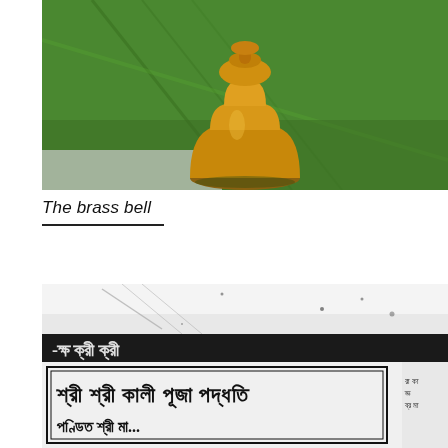[Figure (photo): A brass bell (ghanta) placed on a green banana leaf, photographed from above. The bell is golden-bronze colored with tiered/stacked cylindrical shape.]
The brass bell
[Figure (photo): A black and white photograph of printed Bengali text pages/pamphlets. The text reads 'Shri Shri Kali Puja Paddhati' (Sri Sri Kali Puja Paddhati) in large Bengali script, with additional Bengali text below including 'Pandit Shri...']